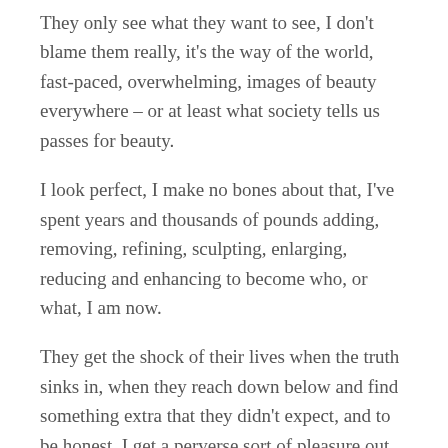They only see what they want to see, I don't blame them really, it's the way of the world, fast-paced, overwhelming, images of beauty everywhere – or at least what society tells us passes for beauty.
I look perfect, I make no bones about that, I've spent years and thousands of pounds adding, removing, refining, sculpting, enlarging, reducing and enhancing to become who, or what, I am now.
They get the shock of their lives when the truth sinks in, when they reach down below and find something extra that they didn't expect, and to be honest, I get a perverse sort of pleasure out of that.
Sorry, you wanted my name for the interview didn't you?
Yeah, it's Stevo…